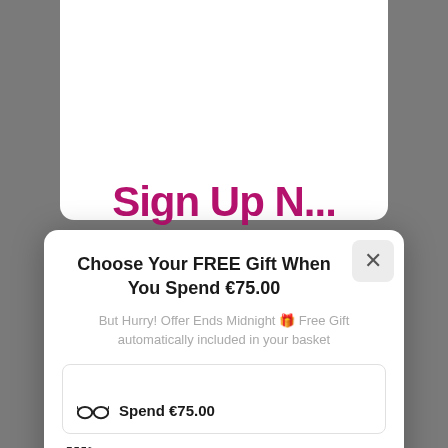Choose Your FREE Gift When You Spend €75.00
But Hurry! Offer Ends Midnight 🎁 Free Gift automatically included in your basket
Spend €75.00
Have a Discount Code? CLICK HERE to Enter
Continue